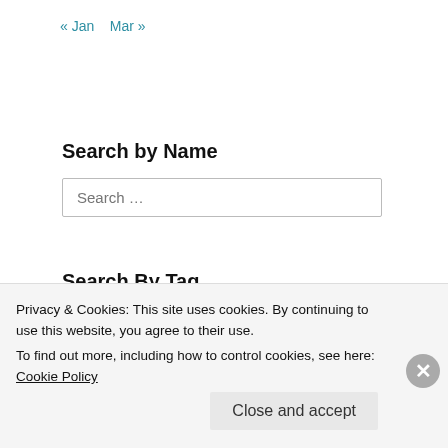« Jan   Mar »
Search by Name
Search …
Search By Tag
3d geometry   3D Printing   4th Dimension   algebra   arithmetic   Art of Problem Solving   bases
Privacy & Cookies: This site uses cookies. By continuing to use this website, you agree to their use.
To find out more, including how to control cookies, see here: Cookie Policy
Close and accept